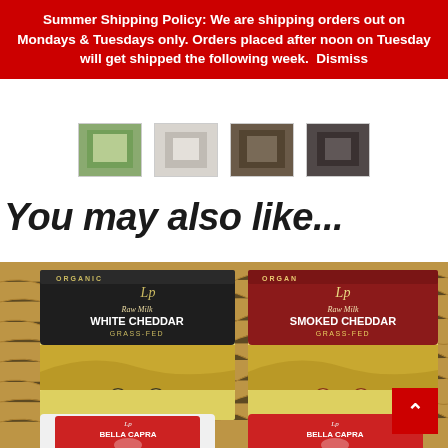Summer Shipping Policy: We are shipping orders out on Mondays & Tuesdays only. Orders placed after noon on Tuesday will get shipped the following week. Dismiss
[Figure (photo): Row of small product thumbnail images partially visible near top of page]
You may also like...
[Figure (photo): Box of artisan cheeses including Raw Milk White Cheddar Grass-Fed (organic, black label), Raw Milk Smoked Cheddar Grass-Fed (organic, red label), and two Bella Capra cheeses (white and red label), packed in brown crinkle paper shredding.]